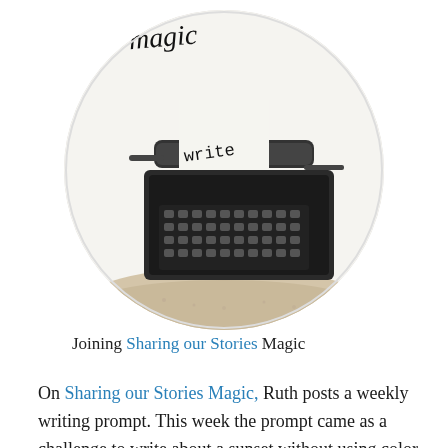[Figure (photo): A circular image showing a vintage typewriter with the word 'write' on the paper, sitting in sand. The circle has a cursive 'magic' text at the top and 'sharingurstoriesmagic.com' text along the right edge. Background is white.]
Joining Sharing our Stories Magic
On Sharing our Stories Magic, Ruth posts a weekly writing prompt. This week the prompt came as a challenge to write about a sunset without using color or seasonal language, among other things.